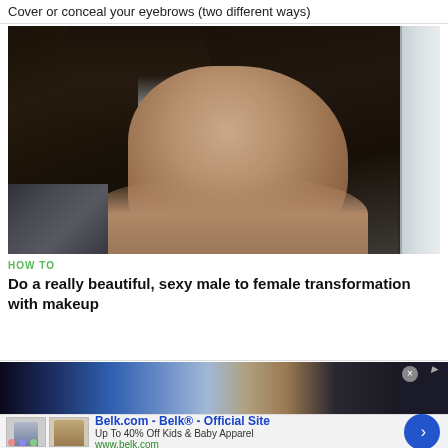Cover or conceal your eyebrows (two different ways)
[Figure (photo): Video thumbnail showing a young woman with long dark hair and natural makeup against a light wall]
HOW TO
Do a really beautiful, sexy male to female transformation with makeup
[Figure (photo): Partial thumbnail of another video with blue lighting]
[Figure (photo): Advertisement banner for Belk.com showing kids clothing items]
Belk.com - Belk® - Official Site
Up To 40% Off Kids & Baby Apparel
www.belk.com